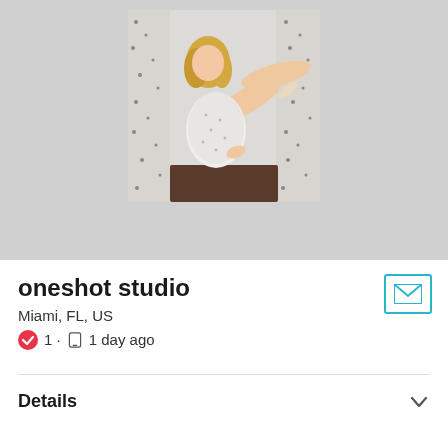[Figure (photo): Profile photo of a woman in a sparkly white dress posing on a dark chair against a glittery background]
oneshot studio
Miami, FL, US
1 · 1 day ago
Details